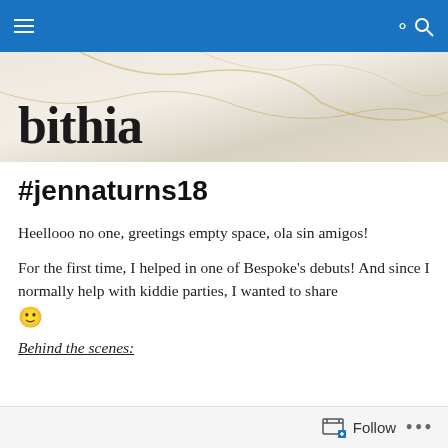Navigation bar with hamburger menu and search icon
[Figure (illustration): Blog header banner with marble/gold texture background and 'bithia' blog title in large serif font]
#jennaturns18
Heellooo no one, greetings empty space, ola sin amigos!
For the first time, I helped in one of Bespoke's debuts! And since I normally help with kiddie parties, I wanted to share 🙂
Behind the scenes:
Follow • • •